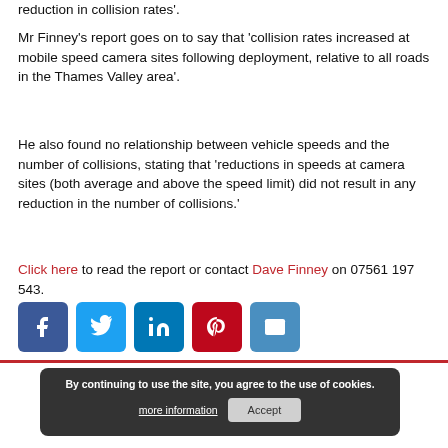reduction in collision rates'.
Mr Finney's report goes on to say that 'collision rates increased at mobile speed camera sites following deployment, relative to all roads in the Thames Valley area'.
He also found no relationship between vehicle speeds and the number of collisions, stating that 'reductions in speeds at camera sites (both average and above the speed limit) did not result in any reduction in the number of collisions.'
Click here to read the report or contact Dave Finney on 07561 197 543.
[Figure (other): Social media share icons: Facebook, Twitter, LinkedIn, Pinterest, Email]
Comments
Comment on this story
By continuing to use the site, you agree to the use of cookies.